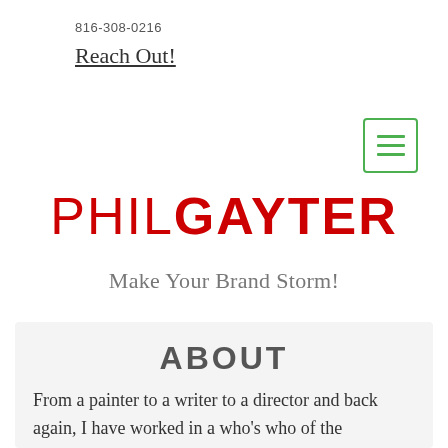816-308-0216
Reach Out!
[Figure (other): Green-bordered hamburger menu button with three horizontal green lines]
PHILGAYTER
Make Your Brand Storm!
ABOUT
From a painter to a writer to a director and back again, I have worked in a who's who of the